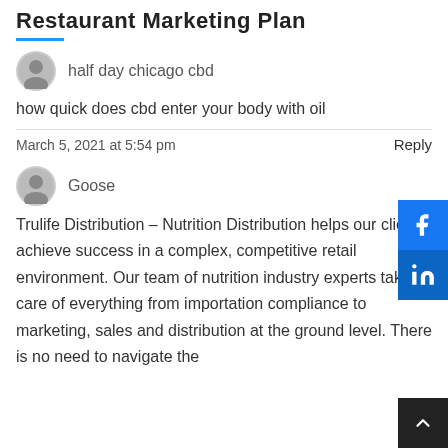Restaurant Marketing Plan
half day chicago cbd
how quick does cbd enter your body with oil
March 5, 2021 at 5:54 pm
Reply
Goose
Trulife Distribution – Nutrition Distribution helps our clients achieve success in a complex, competitive retail environment. Our team of nutrition industry experts takes care of everything from importation compliance to marketing, sales and distribution at the ground level. There is no need to navigate the